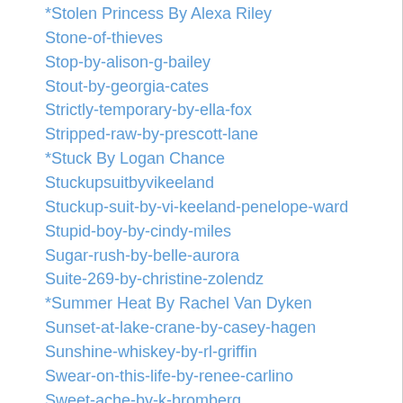*Stolen Princess By Alexa Riley
Stone-of-thieves
Stop-by-alison-g-bailey
Stout-by-georgia-cates
Strictly-temporary-by-ella-fox
Stripped-raw-by-prescott-lane
*Stuck By Logan Chance
Stuckupsuitbyvikeeland
Stuckup-suit-by-vi-keeland-penelope-ward
Stupid-boy-by-cindy-miles
Sugar-rush-by-belle-aurora
Suite-269-by-christine-zolendz
*Summer Heat By Rachel Van Dyken
Sunset-at-lake-crane-by-casey-hagen
Sunshine-whiskey-by-rl-griffin
Swear-on-this-life-by-renee-carlino
Sweet-ache-by-k-bromberg
Sweet-alibi-by-adriane-leigh
Sweet-cheeks-by-k-bromberg
Sweet-dreams-by-nina-lane
*Sweet Life By Nina Lane
Sweet-like-candy-by-evie-harrison